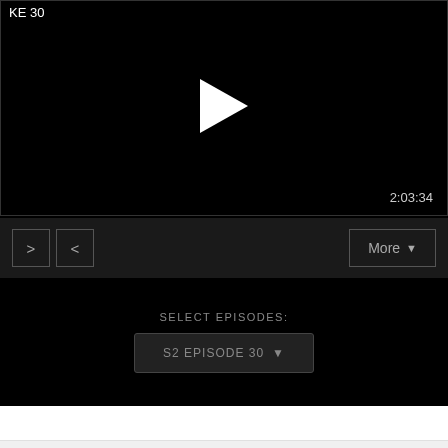[Figure (screenshot): Video player with black background, play button in center, timestamp 2:03:34 in bottom right, label 'KE 30' top left]
2:03:34
[Figure (screenshot): Controls bar with forward and back navigation buttons (> and <) on left, More dropdown button on right]
SELECT EPISODES:
S2 EPISODE 30